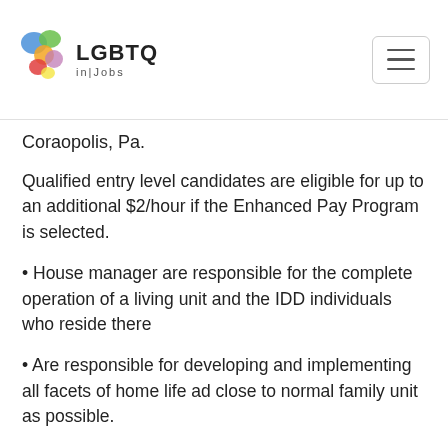LGBTQ in|Jobs
Coraopolis, Pa.
Qualified entry level candidates are eligible for up to an additional $2/hour if the Enhanced Pay Program is selected.
• House manager are responsible for the complete operation of a living unit and the IDD individuals who reside there
• Are responsible for developing and implementing all facets of home life ad close to normal family unit as possible.
• Responsible for supervision and